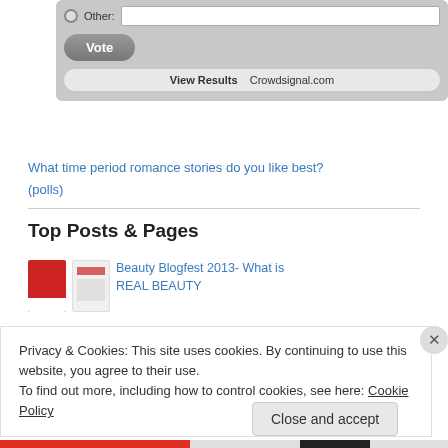[Figure (screenshot): Poll widget with 'Other:' radio button and text input, Vote button, and View Results / Crowdsignal.com bar]
What time period romance stories do you like best?
(polls)
Top Posts & Pages
[Figure (screenshot): Post thumbnail images (red and white product bottles) with link: Beauty Blogfest 2013- What is REAL BEAUTY]
Beauty Blogfest 2013- What is REAL BEAUTY
Privacy & Cookies: This site uses cookies. By continuing to use this website, you agree to their use.
To find out more, including how to control cookies, see here: Cookie Policy
Close and accept